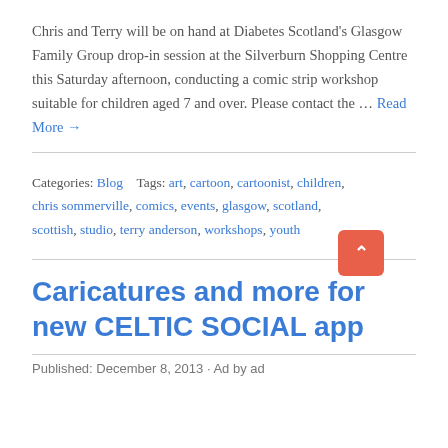Chris and Terry will be on hand at Diabetes Scotland's Glasgow Family Group drop-in session at the Silverburn Shopping Centre this Saturday afternoon, conducting a comic strip workshop suitable for children aged 7 and over. Please contact the … Read More →
Categories: Blog   Tags: art, cartoon, cartoonist, children, chris sommerville, comics, events, glasgow, scotland, scottish, studio, terry anderson, workshops, youth
Caricatures and more for new CELTIC SOCIAL app
Published: December 8, 2013 · Ad by ad